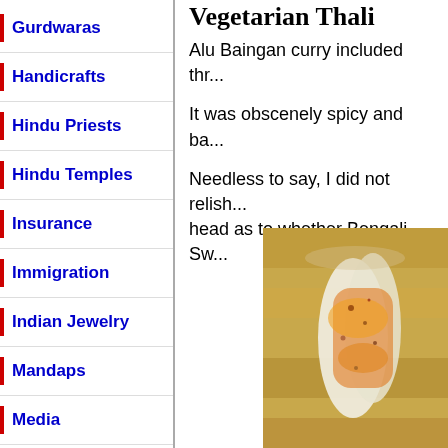Gurdwaras
Handicrafts
Hindu Priests
Hindu Temples
Insurance
Immigration
Indian Jewelry
Mandaps
Media
NYC Pictures
Podiatrist
Vegetarian Thali
Alu Baingan curry included thr...
It was obscenely spicy and ba...
Needless to say, I did not relish... head as to whether Bengali Sw...
[Figure (photo): Close-up photo of a food item, appears to be a vegetarian thali dish with yellow/orange curry or spices on what looks like a white vegetable or paneer piece, on a wooden surface.]